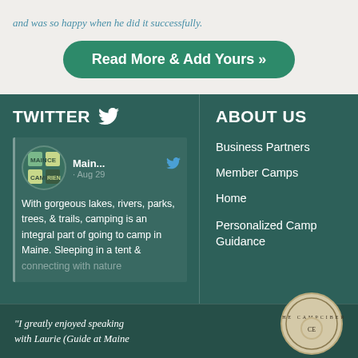and was so happy when he did it successfully.
Read More & Add Yours »
TWITTER
Main... · Aug 29 With gorgeous lakes, rivers, parks, trees, & trails, camping is an integral part of going to camp in Maine. Sleeping in a tent & connecting with nature
ABOUT US
Business Partners
Member Camps
Home
Personalized Camp Guidance
"I greatly enjoyed speaking with Laurie (Guide at Maine